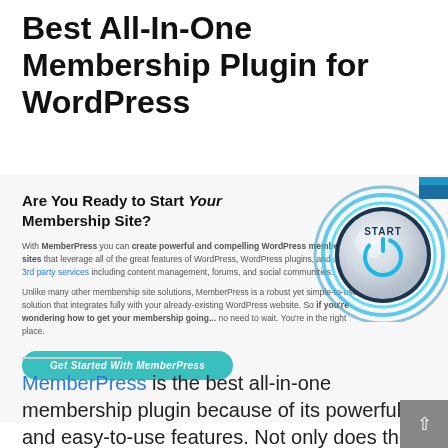Best All-In-One Membership Plugin for WordPress
Are You Ready to Start Your Membership Site?
[Figure (illustration): A glowing blue circular START button with a power icon, styled like a 3D illuminated button]
With MemberPress you can create powerful and compelling WordPress membership sites that leverage all of the great features of WordPress, WordPress plugins, and other 3rd party services including content management, forums, and social communities.
Unlike many other membership site solutions, MemberPress is a robust yet simple-to-use solution that integrates fully with your already-existing WordPress website. So if you're wondering how to get your membership going... no need to wait. You're in the right place.
Get Started With MemberPress
MemberPress is the best all-in-one membership plugin because of its powerful and easy-to-use features. Not only does the